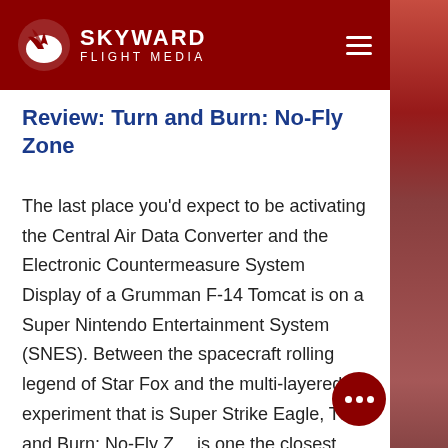SKYWARD FLIGHT MEDIA
Review: Turn and Burn: No-Fly Zone
The last place you'd expect to be activating the Central Air Data Converter and the Electronic Countermeasure System Display of a Grumman F-14 Tomcat is on a Super Nintendo Entertainment System (SNES). Between the spacecraft rolling legend of Star Fox and the multi-layered experiment that is Super Strike Eagle, Turn and Burn: No-Fly Z… is one the closest things to a flight